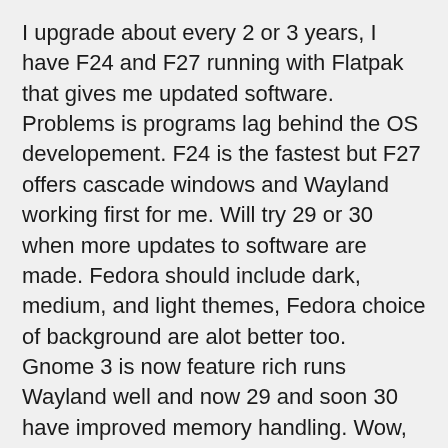I upgrade about every 2 or 3 years, I have F24 and F27 running with Flatpak that gives me updated software. Problems is programs lag behind the OS developement. F24 is the fastest but F27 offers cascade windows and Wayland working first for me. Will try 29 or 30 when more updates to software are made. Fedora should include dark, medium, and light themes, Fedora choice of background are alot better too.
Gnome 3 is now feature rich runs Wayland well and now 29 and soon 30 have improved memory handling. Wow, amazed how you guys put new technology into opensource and make it work.
NOVEMBER 30, 2018